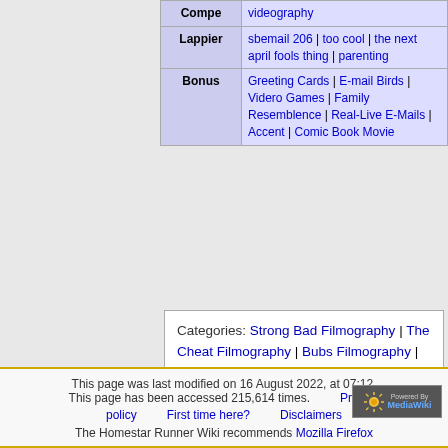|  |  |
| --- | --- |
| Compe... | videography |
| Lappier | sbemail 206 | too cool | the next april fools thing | parenting |
| Bonus | Greeting Cards | E-mail Birds | Videro Games | Family Resemblence | Real-Live E-Mails | Accent | Comic Book Movie |
Categories: Strong Bad Filmography | The Cheat Filmography | Bubs Filmography | Strong Mad Filmography | Marzipan Filmography | Homestar Runner Filmography | Homsar Filmography | Gavin Filmography | Strong Sad Filmography | Lappy 486 Emails | strongbad email.exe Disc Six | Emails With DVD Commentary | Podstar Runner
This page was last modified on 16 August 2022, at 07:12. This page has been accessed 215,614 times. Privacy policy | First time here? | Disclaimers | The Homestar Runner Wiki recommends Mozilla Firefox